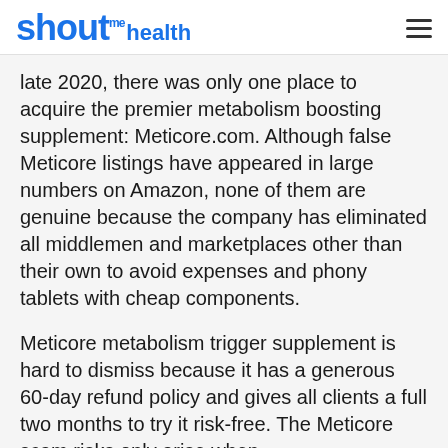shout me health
late 2020, there was only one place to acquire the premier metabolism boosting supplement: Meticore.com. Although false Meticore listings have appeared in large numbers on Amazon, none of them are genuine because the company has eliminated all middlemen and marketplaces other than their own to avoid expenses and phony tablets with cheap components.
Meticore metabolism trigger supplement is hard to dismiss because it has a generous 60-day refund policy and gives all clients a full two months to try it risk-free. The Meticore scam risks only arise when